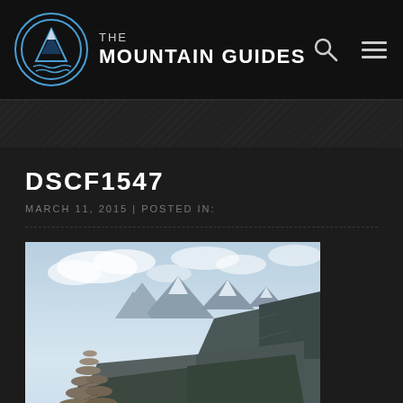THE MOUNTAIN GUIDES
DSCF1547
MARCH 11, 2015 | POSTED IN:
[Figure (photo): Mountain landscape photo showing a rocky cairn in the foreground on the left, a deep blue lake/fjord below, steep rocky cliffs, and snow-capped mountain peaks in the background under a partly cloudy sky.]